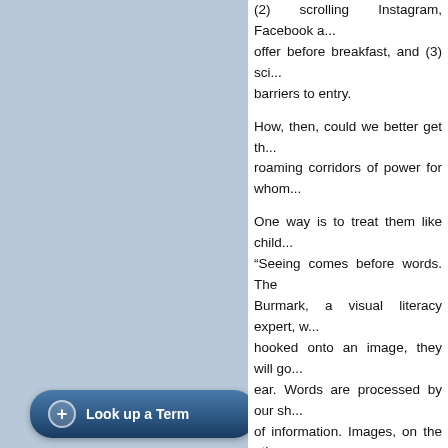(2) scrolling Instagram, Facebook a... offer before breakfast, and (3) sci... barriers to entry.
How, then, could we better get th... roaming corridors of power for whom...
One way is to treat them like child... "Seeing comes before words. The ... Burmark, a visual literacy expert, w... hooked onto an image, they will go... ear. Words are processed by our sh... of information. Images, on the othe... indelibly etched."
Read more...
18 comments
Geothermal heating and c...
Posted on 15 August 2022 by Gue...
This is a re-post from Yale Climate...
Often described as a giant tower of... and Data Sciences shows no out...
Look up a Term